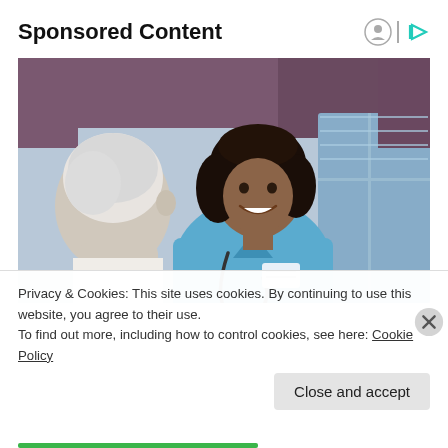Sponsored Content
[Figure (photo): A smiling female nurse in blue scrubs with a stethoscope talking with an elderly patient in a healthcare setting.]
Privacy & Cookies: This site uses cookies. By continuing to use this website, you agree to their use.
To find out more, including how to control cookies, see here: Cookie Policy